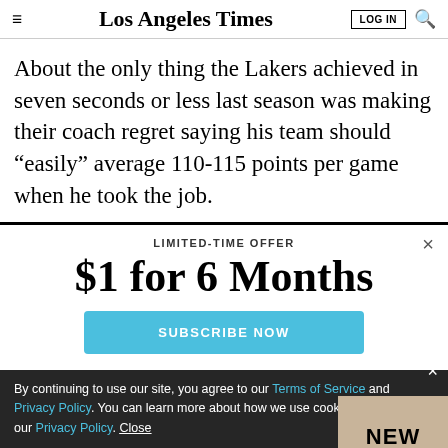Los Angeles Times | LOG IN | Search
About the only thing the Lakers achieved in seven seconds or less last season was making their coach regret saying his team should “easily” average 110-115 points per game when he took the job.
LIMITED-TIME OFFER
$1 for 6 Months
SUBSCRIBE NOW
By continuing to use our site, you agree to our Terms of Service and Privacy Policy. You can learn more about how we use cookies by reviewing our Privacy Policy. Close